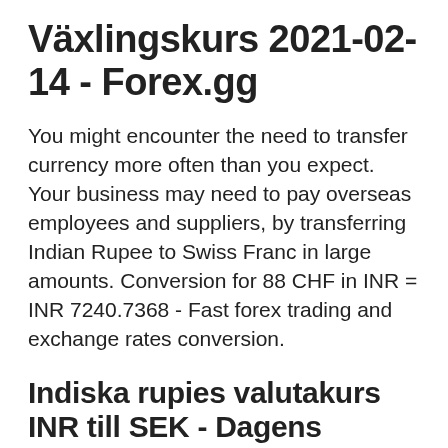Växlingskurs 2021-02-14 - Forex.gg
You might encounter the need to transfer currency more often than you expect. Your business may need to pay overseas employees and suppliers, by transferring Indian Rupee to Swiss Franc in large amounts. Conversion for 88 CHF in INR = INR 7240.7368 - Fast forex trading and exchange rates conversion.
Indiska rupies valutakurs INR till SEK - Dagens Industri
96 chf = 7,773.41 inr. 97 chf = 7,854.38 inr. 98 chf = 7,935.35 inr. 99 chf = 8,016.33 inr. 100 chf =